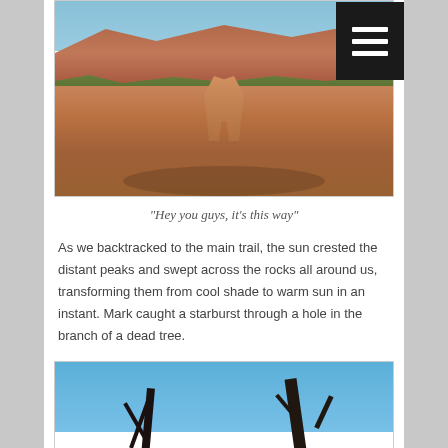[Figure (photo): Dog standing on a red rock formation with red sandstone mountains and blue sky in the background, Sedona-style landscape]
[Figure (other): Hamburger menu icon (three white horizontal lines on black background) in top right corner]
“Hey you guys, it’s this way”
As we backtracked to the main trail, the sun crested the distant peaks and swept across the rocks all around us, transforming them from cool shade to warm sun in an instant. Mark caught a starburst through a hole in the branch of a dead tree.
[Figure (photo): Silhouette of dead tree branches against a bright blue sky]